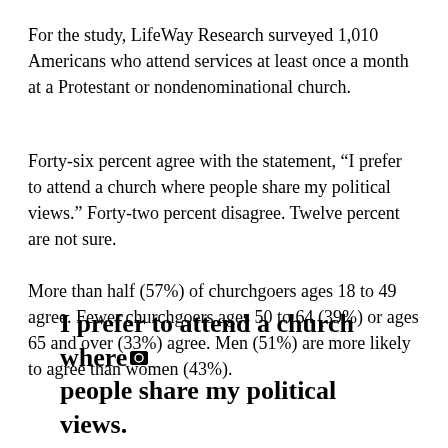For the study, LifeWay Research surveyed 1,010 Americans who attend services at least once a month at a Protestant or nondenominational church.
Forty-six percent agree with the statement, “I prefer to attend a church where people share my political views.” Forty-two percent disagree. Twelve percent are not sure.
More than half (57%) of churchgoers ages 18 to 49 agree. Fewer churchgoers ages 50 to 64 (39%) or ages 65 and over (33%) agree. Men (51%) are more likely to agree than women (43%).
I prefer to attend a church where people share my political views.